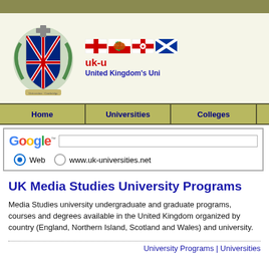[Figure (logo): Website header with university crest, UK flags (England, Wales, Northern Ireland, Scotland), and site title 'uk-universities.net - United Kingdom's Universities']
| Home | Universities | Colleges | (more) |
| --- | --- | --- | --- |
[Figure (other): Google search bar with Web and www.uk-universities.net radio button options]
UK Media Studies University Programs
Media Studies university undergraduate and graduate programs, courses and degrees available in the United Kingdom organized by country (England, Northern Island, Scotland and Wales) and university.
University Programs | Universities